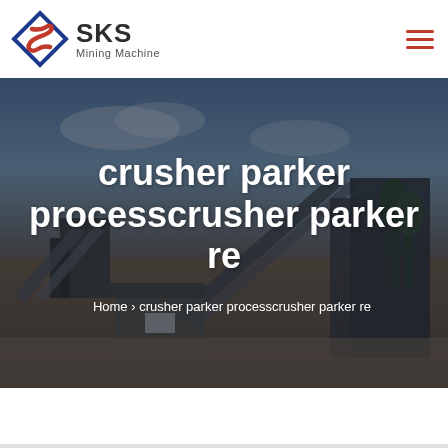[Figure (logo): SKS Mining Machine logo with diamond/arrow icon in red and blue]
crusher parker processcrusher parker re
Home > crusher parker processcrusher parker re
[Figure (photo): Industrial mining/crushing plant facility with conveyor belts and machinery, dark overlay, outdoor daytime setting]